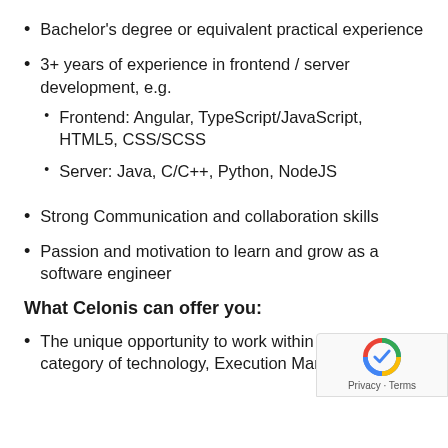Bachelor's degree or equivalent practical experience
3+ years of experience in frontend / server development, e.g.
  • Frontend: Angular, TypeScript/JavaScript, HTML5, CSS/SCSS
  • Server: Java, C/C++, Python, NodeJS
Strong Communication and collaboration skills
Passion and motivation to learn and grow as a software engineer
What Celonis can offer you:
The unique opportunity to work within a new category of technology, Execution Management